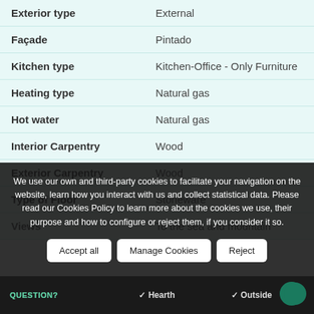| Property | Value |
| --- | --- |
| Exterior type | External |
| Façade | Pintado |
| Kitchen type | Kitchen-Office - Only Furniture |
| Heating type | Natural gas |
| Hot water | Natural gas |
| Interior Carpentry | Wood |
| Exterior Carpentry | Wood |
| Type of Floor | Stoneware |
| Views | To the sea and mountain |
We use our own and third-party cookies to facilitate your navigation on the website, learn how you interact with us and collect statistical data. Please read our Cookies Policy to learn more about the cookies we use, their purpose and how to configure or reject them, if you consider it so.